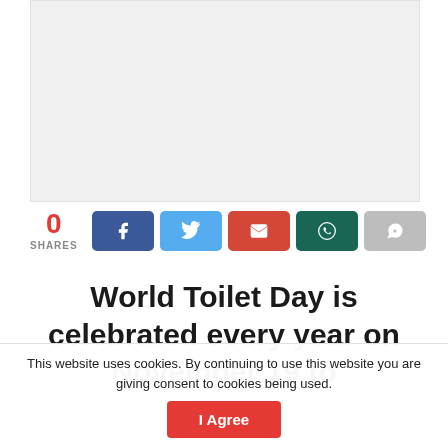[Figure (other): Advertisement placeholder box with light gray background]
0 SHARES
[Figure (infographic): Social share buttons: Facebook (blue), Twitter (light blue), Email (red), WhatsApp (dark teal), Share/Other (gray)]
World Toilet Day is celebrated every year on November 19 to
This website uses cookies. By continuing to use this website you are giving consent to cookies being used. I Agree